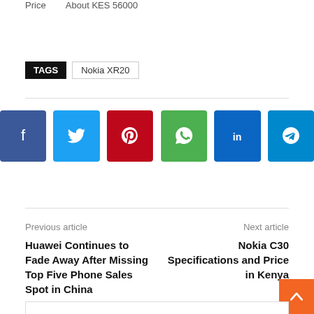Price   About KES 56000
TAGS  Nokia XR20
[Figure (infographic): Row of 6 social sharing buttons: Facebook (dark blue), Twitter (light blue), Pinterest (red), WhatsApp (green), LinkedIn (dark blue), Telegram (light blue)]
Previous article
Huawei Continues to Fade Away After Missing Top Five Phone Sales Spot in China
Next article
Nokia C30 Specifications and Price in Kenya